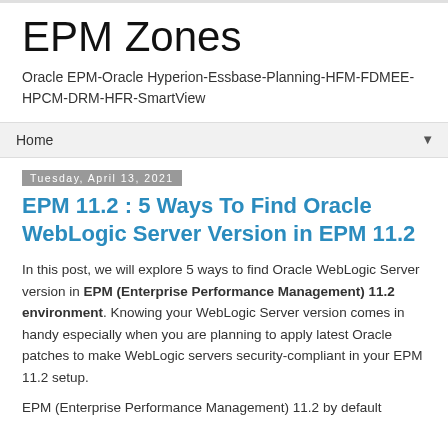EPM Zones
Oracle EPM-Oracle Hyperion-Essbase-Planning-HFM-FDMEE-HPCM-DRM-HFR-SmartView
Home ▼
Tuesday, April 13, 2021
EPM 11.2 : 5 Ways To Find Oracle WebLogic Server Version in EPM 11.2
In this post, we will explore 5 ways to find Oracle WebLogic Server version in EPM (Enterprise Performance Management) 11.2 environment. Knowing your WebLogic Server version comes in handy especially when you are planning to apply latest Oracle patches to make WebLogic servers security-compliant in your EPM 11.2 setup.
EPM (Enterprise Performance Management) 11.2 by default